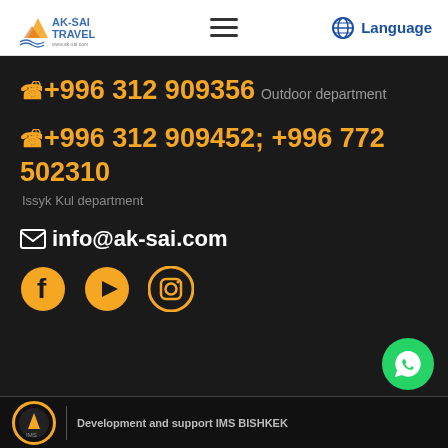AK-SAI TRAVEL | Language
+996 312 909356 Outdoor department
+996 312 909452; +996 772 502310 Issyk Kul department
info@ak-sai.com
[Figure (logo): Social media icons: Facebook, YouTube, Instagram]
Development and support IMS BISHKEK